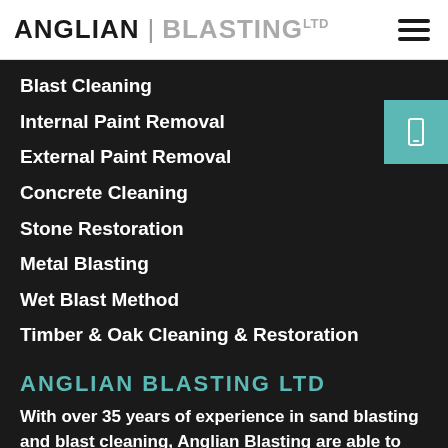ANGLIAN BLASTING LTD
Blast Cleaning
Internal Paint Removal
External Paint Removal
Concrete Cleaning
Stone Restoration
Metal Blasting
Wet Blast Method
Timber & Oak Cleaning & Restoration
ANGLIAN BLASTING LTD
With over 35 years of experience in sand blasting and blast cleaning, Anglian Blasting are able to offer customers with an unrivalled blasting service.